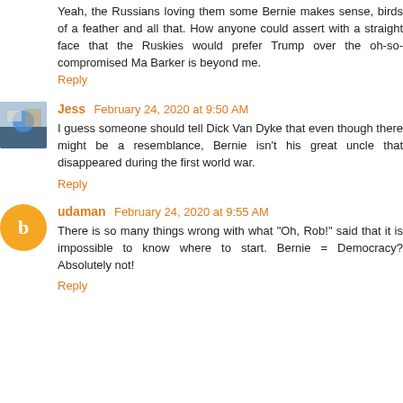Yeah, the Russians loving them some Bernie makes sense, birds of a feather and all that. How anyone could assert with a straight face that the Ruskies would prefer Trump over the oh-so-compromised Ma Barker is beyond me.
Reply
Jess February 24, 2020 at 9:50 AM
I guess someone should tell Dick Van Dyke that even though there might be a resemblance, Bernie isn't his great uncle that disappeared during the first world war.
Reply
udaman February 24, 2020 at 9:55 AM
There is so many things wrong with what "Oh, Rob!" said that it is impossible to know where to start. Bernie = Democracy? Absolutely not!
Reply